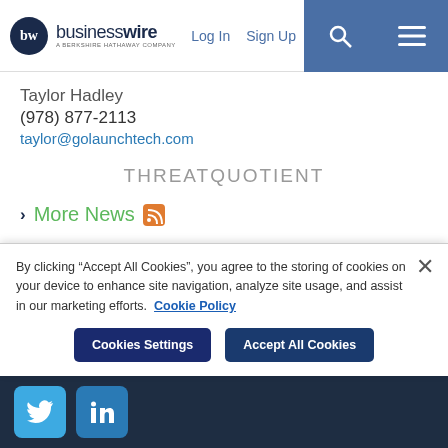businesswire - A Berkshire Hathaway Company | Log In | Sign Up
Taylor Hadley
(978) 877-2113
taylor@golaunchtech.com
THREATQUOTIENT
More News
By clicking "Accept All Cookies", you agree to the storing of cookies on your device to enhance site navigation, analyze site usage, and assist in our marketing efforts. Cookie Policy
Cookies Settings | Accept All Cookies